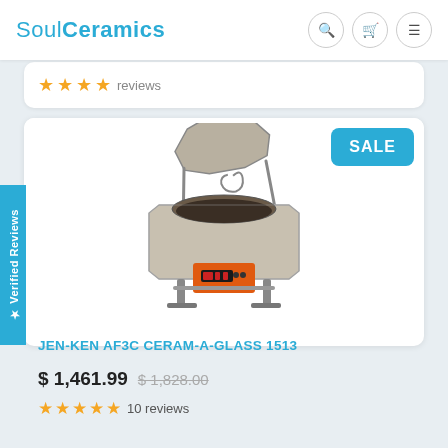SoulCeramics
★★★★ reviews
[Figure (photo): Jen-Ken AF3C Ceram-A-Glass 1513 electric kiln with open lid showing ceramic interior, orange control panel with digital display, mounted on metal stand]
JEN-KEN AF3C CERAM-A-GLASS 1513
$ 1,461.99  $1,828.00
★★★★★ 10 reviews